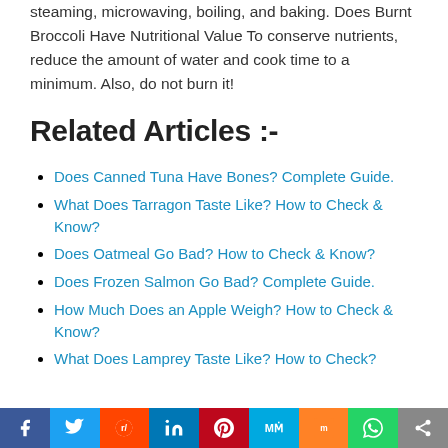steaming, microwaving, boiling, and baking. Does Burnt Broccoli Have Nutritional Value To conserve nutrients, reduce the amount of water and cook time to a minimum. Also, do not burn it!
Related Articles :-
Does Canned Tuna Have Bones? Complete Guide.
What Does Tarragon Taste Like? How to Check & Know?
Does Oatmeal Go Bad? How to Check & Know?
Does Frozen Salmon Go Bad? Complete Guide.
How Much Does an Apple Weigh? How to Check & Know?
What Does Lamprey Taste Like? How to Check?
Social share bar: Facebook, Twitter, Reddit, LinkedIn, Pinterest, MeWe, Mix, WhatsApp, Share